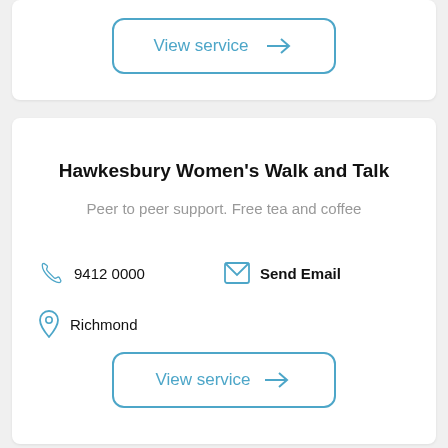View service →
Hawkesbury Women's Walk and Talk
Peer to peer support. Free tea and coffee
9412 0000
Send Email
Richmond
View service →